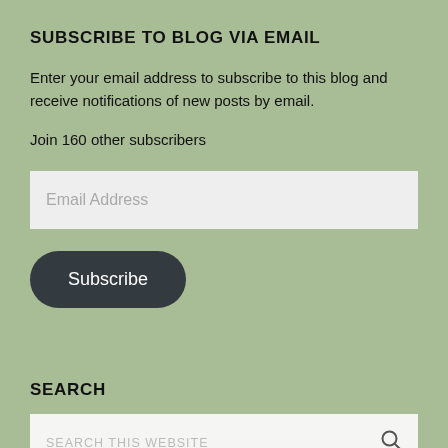SUBSCRIBE TO BLOG VIA EMAIL
Enter your email address to subscribe to this blog and receive notifications of new posts by email.
Join 160 other subscribers
[Figure (screenshot): Email address input field with light gray background and placeholder text 'Email Address']
[Figure (screenshot): Dark rounded Subscribe button]
SEARCH
[Figure (screenshot): Search input box with placeholder 'SEARCH THIS WEBSITE' and magnifying glass icon]